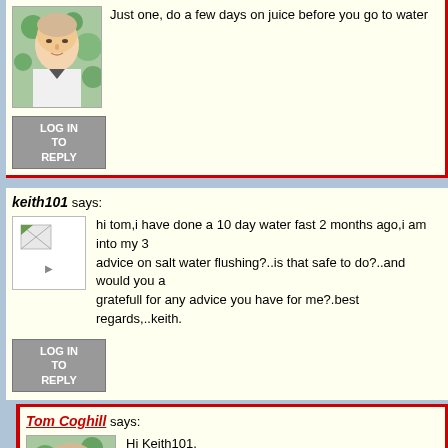Just one, do a few days on juice before you go to water
LOG IN TO REPLY
keith101 says:
hi tom,i have done a 10 day water fast 2 months ago,i am into my 3... advice on salt water flushing?..is that safe to do?..and would you a... gratefull for any advice you have for me?.best regards,..keith.
LOG IN TO REPLY
Tom Coghill says:
Hi Keith101, I am not so keen on promoting the salt water flush. It is h... I think it would be good for Candida or to quickly kill intes... normal person an enema is easy and effective.
LOG IN TO REPLY